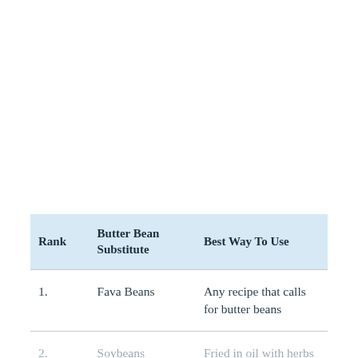| Rank | Butter Bean Substitute | Best Way To Use |
| --- | --- | --- |
| 1. | Fava Beans | Any recipe that calls for butter beans |
| 2. | Soybeans | Fried in oil with herbs and spices |